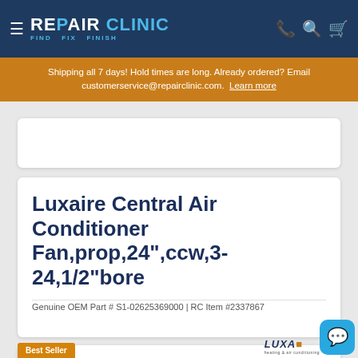REPAIR CLINIC - FIND. FIX. FINISH.
Shipping all 7 days! Hold times are long. Already ordered? Email customerservice@repairclinic.com. Learn more
Luxaire Central Air Conditioner Fan,prop,24",ccw,3-24,1/2"bore
Genuine OEM Part # S1-02625369000 | RC Item #2337867